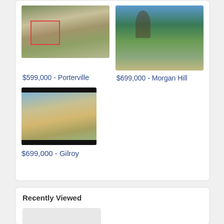[Figure (photo): Aerial/satellite view of land parcel in Porterville with red boundary outline]
$599,000 - Porterville
[Figure (photo): Photo of a Buddha statue in a garden setting in Morgan Hill]
$699,000 - Morgan Hill
[Figure (photo): Aerial view of agricultural land parcels in Gilroy with black bars at top and bottom]
$699,000 - Gilroy
Recently Viewed
[Figure (photo): Placeholder image in recently viewed section]